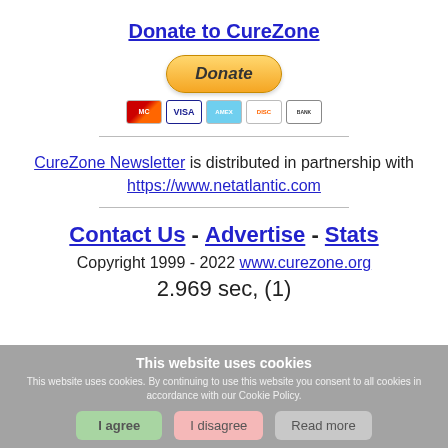Donate to CureZone
[Figure (other): PayPal Donate button with payment card icons (Mastercard, Visa, Amex, Discover, Bank)]
CureZone Newsletter is distributed in partnership with https://www.netatlantic.com
Contact Us - Advertise - Stats
Copyright 1999 - 2022 www.curezone.org
2.969 sec, (1)
This website uses cookies
This website uses cookies. By continuing to use this website you consent to all cookies in accordance with our Cookie Policy.